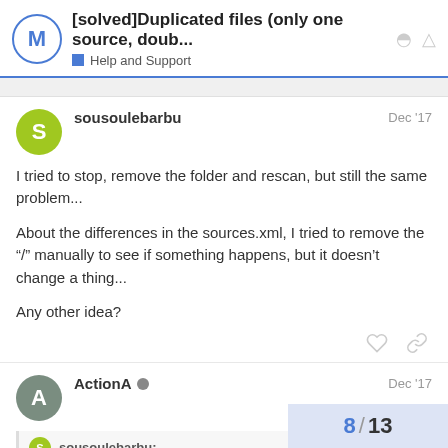[solved]Duplicated files (only one source, doub... — Help and Support
I tried to stop, remove the folder and rescan, but still the same problem...

About the differences in the sources.xml, I tried to remove the "/" manually to see if something happens, but it doesn't change a thing...

Any other idea?
sousoulebarbu: (quoted post beginning)